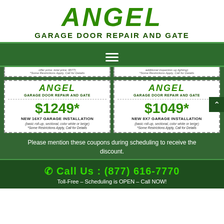ANGEL GARAGE DOOR REPAIR AND GATE
[Figure (logo): Angel Garage Door Repair and Gate company logo with green bold italic ANGEL text and dark green subtitle]
$1249* NEW 16X7 GARAGE INSTALLATION (basic roll-up, sectional, color white or beige) *Some Restrictions Apply, Call for Details
$1049* NEW 8X7 GARAGE INSTALLATION (basic roll-up, sectional, color white or beige) *Some Restrictions Apply, Call for Details
Please mention these coupons during scheduling to receive the discount.
Call Us : (877) 616-7770
Toll-Free – Scheduling is OPEN – Call NOW!